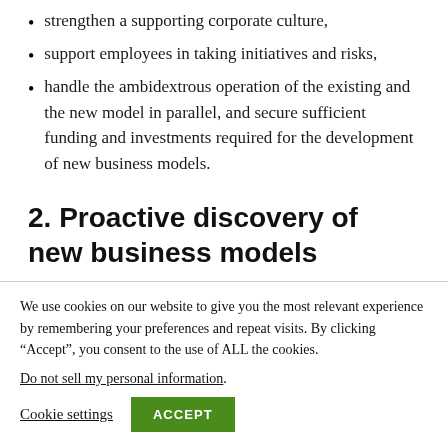strengthen a supporting corporate culture,
support employees in taking initiatives and risks,
handle the ambidextrous operation of the existing and the new model in parallel, and secure sufficient funding and investments required for the development of new business models.
2. Proactive discovery of new business models
We use cookies on our website to give you the most relevant experience by remembering your preferences and repeat visits. By clicking “Accept”, you consent to the use of ALL the cookies.
Do not sell my personal information.
Cookie settings  ACCEPT